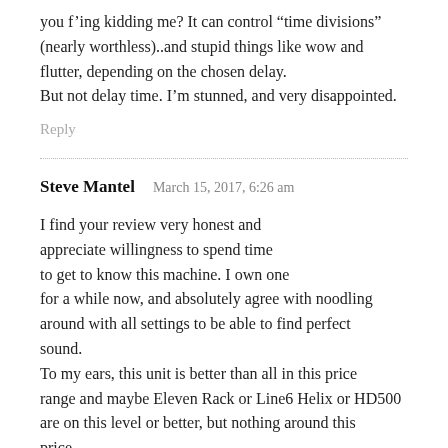you f'ing kidding me? It can control “time divisions” (nearly worthless)..and stupid things like wow and flutter, depending on the chosen delay.
But not delay time. I’m stunned, and very disappointed.
Reply
Steve Mantel    March 15, 2017, 6:26 am
I find your review very honest and appreciate willingness to spend time to get to know this machine. I own one for a while now, and absolutely agree with noodling around with all settings to be able to find perfect sound.
To my ears, this unit is better than all in this price range and maybe Eleven Rack or Line6 Helix or HD500 are on this level or better, but nothing around this price.
Three hundred bucks is nothing and you can find your